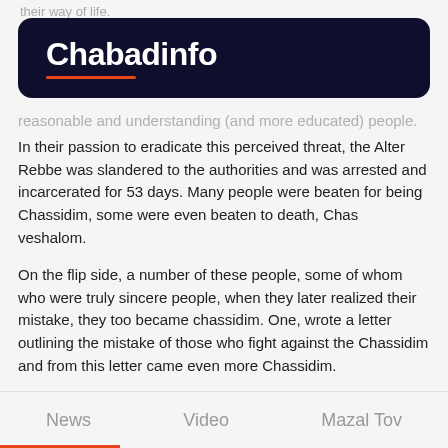their way of life.
[Figure (logo): Chabadinfo logo on dark navy background with orange underline]
reasonable and understanding (and more educated) people. In their passion to eradicate this perceived threat, the Alter Rebbe was slandered to the authorities and was arrested and incarcerated for 53 days. Many people were beaten for being Chassidim, some were even beaten to death, Chas veshalom.
On the flip side, a number of these people, some of whom who were truly sincere people, when they later realized their mistake, they too became chassidim. One, wrote a letter outlining the mistake of those who fight against the Chassidim and from this letter came even more Chassidim.
After 53 days of interrogation, the Alter Rebbe was released and vindicated of all charges. Later in the war against Napoleon in 1812, he was awarded a medal of honor for his
News   Video   Mazal Tov